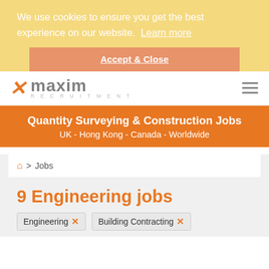We use cookies to ensure you get the best experience on our website.  Learn more
Accept & Close
[Figure (logo): Maxim Recruitment logo with orange X and grey maxim text]
Quantity Surveying & Construction Jobs
UK - Hong Kong - Canada - Worldwide
🏠 > Jobs
9 Engineering jobs
Engineering ✕
Building Contracting ✕